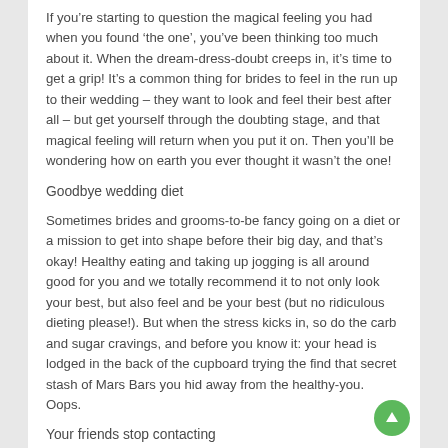If you’re starting to question the magical feeling you had when you found ‘the one’, you’ve been thinking too much about it. When the dream-dress-doubt creeps in, it’s time to get a grip! It’s a common thing for brides to feel in the run up to their wedding – they want to look and feel their best after all – but get yourself through the doubting stage, and that magical feeling will return when you put it on. Then you’ll be wondering how on earth you ever thought it wasn’t the one!
Goodbye wedding diet
Sometimes brides and grooms-to-be fancy going on a diet or a mission to get into shape before their big day, and that’s okay! Healthy eating and taking up jogging is all around good for you and we totally recommend it to not only look your best, but also feel and be your best (but no ridiculous dieting please!). But when the stress kicks in, so do the carb and sugar cravings, and before you know it: your head is lodged in the back of the cupboard trying the find that secret stash of Mars Bars you hid away from the healthy-you. Oops.
Your friends stop contacting